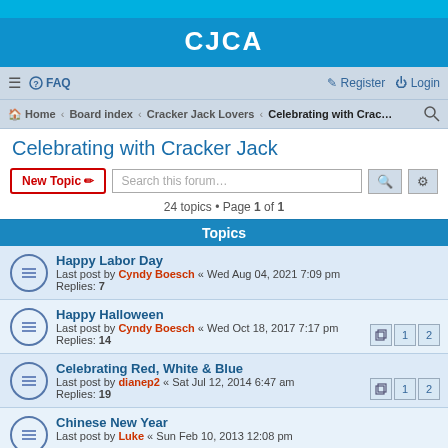CJCA
FAQ  Register  Login
Home • Board index • Cracker Jack Lovers • Celebrating with Crac…
Celebrating with Cracker Jack
New Topic  Search this forum…  24 topics • Page 1 of 1
Topics
Happy Labor Day
Last post by Cyndy Boesch « Wed Aug 04, 2021 7:09 pm
Replies: 7
Happy Halloween
Last post by Cyndy Boesch « Wed Oct 18, 2017 7:17 pm
Replies: 14 [1][2]
Celebrating Red, White & Blue
Last post by dianep2 « Sat Jul 12, 2014 6:47 am
Replies: 19 [1][2]
Chinese New Year
Last post by Luke « Sun Feb 10, 2013 12:08 pm